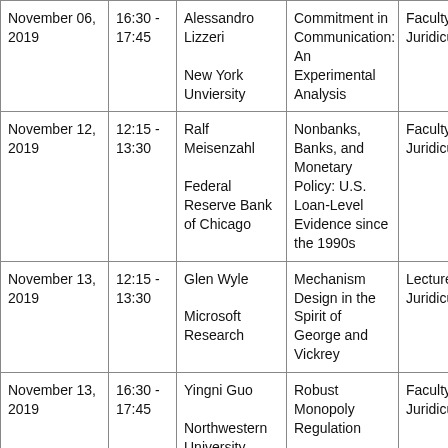| Date | Time | Speaker | Title | Type |
| --- | --- | --- | --- | --- |
| November 06, 2019 | 16:30 - 17:45 | Alessandro Lizzeri

New York Unviersity | Commitment in Communication: An Experimental Analysis | Faculty Juridicu |
| November 12, 2019 | 12:15 - 13:30 | Ralf Meisenzahl

Federal Reserve Bank of Chicago | Nonbanks, Banks, and Monetary Policy: U.S. Loan-Level Evidence since the 1990s | Faculty Juridicu |
| November 13, 2019 | 12:15 - 13:30 | Glen Wyle

Microsoft Research | Mechanism Design in the Spirit of George and Vickrey | Lecture Juridicu |
| November 13, 2019 | 16:30 - 17:45 | Yingni Guo

Northwestern University | Robust Monopoly Regulation | Faculty Juridicu |
|  |  | Loriana |  |  |